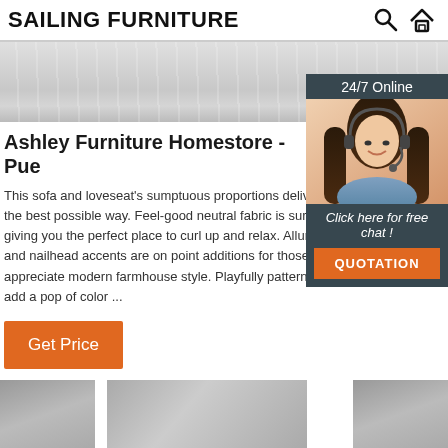SAILING FURNITURE
[Figure (photo): Banner hero image showing a light grey wood-grain surface texture]
Ashley Furniture Homestore - Pue
This sofa and loveseat's sumptuous proportions delive the best possible way. Feel-good neutral fabric is sure giving you the perfect place to curl up and relax. Allur and nailhead accents are on point additions for those appreciate modern farmhouse style. Playfully pattern add a pop of color ...
[Figure (photo): 24/7 Online chat widget showing a woman with a headset smiling, with a 'Click here for free chat!' button and orange QUOTATION button]
Get Price
[Figure (photo): Partial bottom row of furniture product images]